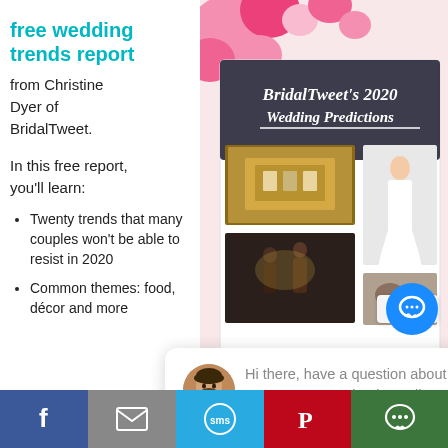free wedding trends report
from Christine Dyer of BridalTweet.
In this free report, you'll learn:
Twenty trends that many couples won't be able to resist in 2020
Common themes: food, décor and more
[Figure (photo): Book cover for BridalTweet's 2020 Wedding Predictions with wedding photos including a gold bracelet, bride in white dress, and couple dancing]
close
Hi there, have a question about our programs or book a call? Text us here.